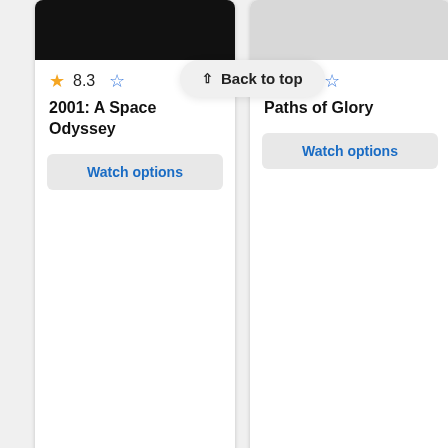[Figure (screenshot): Screenshot of a movie listing website showing two movie cards: '2001: A Space Odyssey' rated 8.3 and 'Paths of Glory' rated 8.4, each with 'Watch options' buttons and info icons. A 'Back to top' tooltip is visible over the second card. A third partially visible card is cropped at right edge. The lower portion of the page shows a diagonal stripe background pattern.]